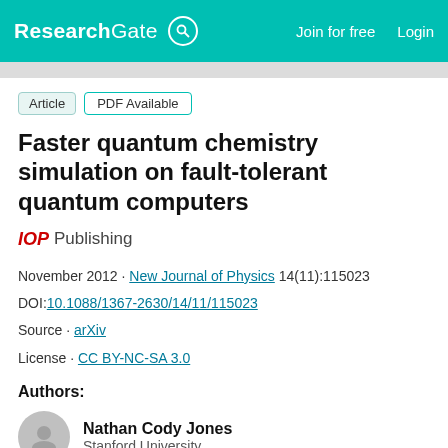ResearchGate | Join for free | Login
Article · PDF Available
Faster quantum chemistry simulation on fault-tolerant quantum computers
IOP Publishing
November 2012 · New Journal of Physics 14(11):115023
DOI:10.1088/1367-2630/14/11/115023
Source · arXiv
License · CC BY-NC-SA 3.0
Authors:
Nathan Cody Jones
Stanford University
Aaron Daniel Whitfield